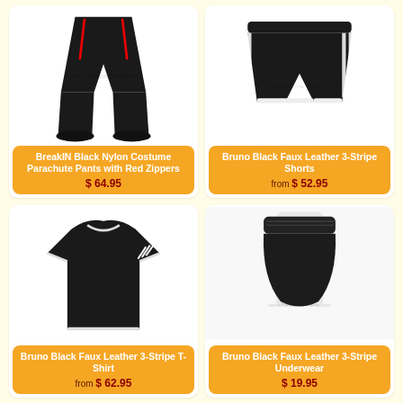[Figure (photo): Product photo of black nylon parachute pants with red zippers]
BreakIN Black Nylon Costume Parachute Pants with Red Zippers
$ 64.95
[Figure (photo): Product photo of Bruno Black Faux Leather 3-Stripe Shorts]
Bruno Black Faux Leather 3-Stripe Shorts
from $ 52.95
[Figure (photo): Product photo of Bruno Black Faux Leather 3-Stripe T-Shirt]
Bruno Black Faux Leather 3-Stripe T-Shirt
from $ 62.95
[Figure (photo): Product photo of Bruno Black Faux Leather 3-Stripe Underwear]
Bruno Black Faux Leather 3-Stripe Underwear
$ 19.95